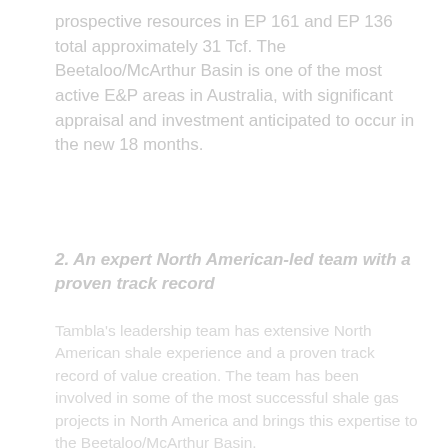prospective resources in EP 161 and EP 136 total approximately 31 Tcf. The Beetaloo/McArthur Basin is one of the most active E&P areas in Australia, with significant appraisal and investment anticipated to occur in the new 18 months.
2. An expert North American-led team with a proven track record
Tambla's leadership team has extensive North American shale experience and a proven track record of value creation. The team has been involved in some of the most successful shale gas projects in North America and brings this expertise to the Beetaloo/McArthur Basin.